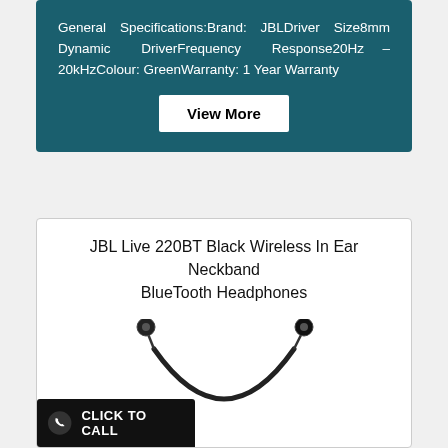General Specifications:Brand: JBLDriver Size8mm Dynamic DriverFrequency Response20Hz – 20kHzColour: GreenWarranty: 1 Year Warranty
View More
JBL Live 220BT Black Wireless In Ear Neckband BlueTooth Headphones
[Figure (photo): JBL Live 220BT black wireless neckband earphones, showing two earbuds connected by a neckband cable]
CLICK TO CALL